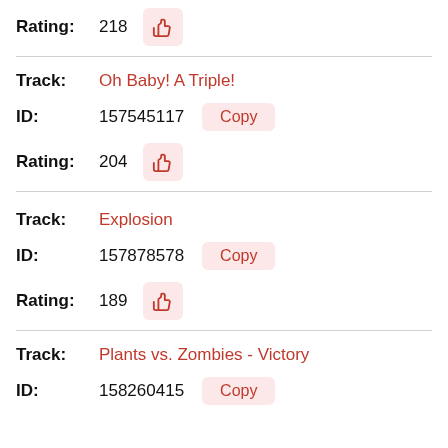Rating: 218
Track: Oh Baby! A Triple!
ID: 157545117
Rating: 204
Track: Explosion
ID: 157878578
Rating: 189
Track: Plants vs. Zombies - Victory
ID: 158260415